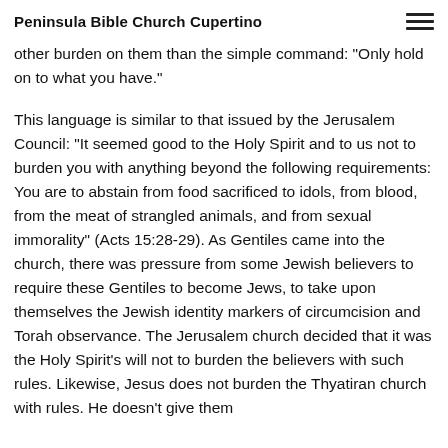Peninsula Bible Church Cupertino
other burden on them than the simple command: 'Only hold on to what you have.'
This language is similar to that issued by the Jerusalem Council: "It seemed good to the Holy Spirit and to us not to burden you with anything beyond the following requirements: You are to abstain from food sacrificed to idols, from blood, from the meat of strangled animals, and from sexual immorality" (Acts 15:28-29). As Gentiles came into the church, there was pressure from some Jewish believers to require these Gentiles to become Jews, to take upon themselves the Jewish identity markers of circumcision and Torah observance. The Jerusalem church decided that it was the Holy Spirit's will not to burden the believers with such rules. Likewise, Jesus does not burden the Thyatiran church with rules. He doesn't give them